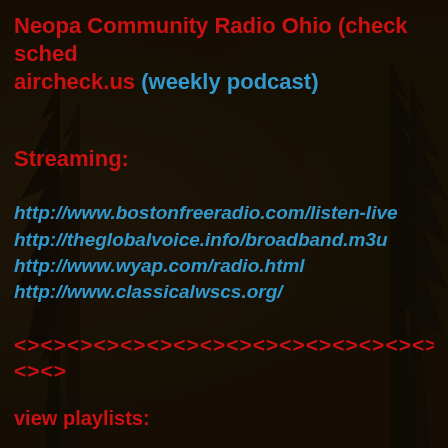Neopa Community Radio Ohio (check sched aircheck.us (weekly podcast)
Streaming:
http://www.bostonfreeradio.com/listen-live
http://theglobalvoice.info/broadband.m3u
http://www.wyap.com/radio.html
http://www.classicalwscs.org/
<><><><><><><><><><><><><><><><><><><><
<><>
view playlists: